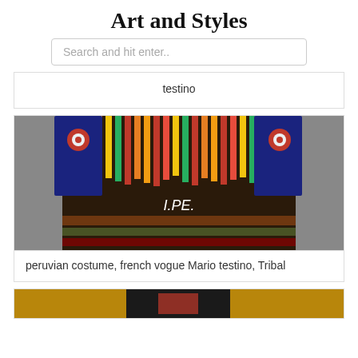Art and Styles
Search and hit enter..
testino
[Figure (photo): Person wearing colorful Peruvian traditional costume with bright fringe tassels in red, orange, yellow, and green hanging down, and embroidered black clothing with floral patterns and text 'I.PE.' visible.]
peruvian costume, french vogue Mario testino, Tribal
[Figure (photo): Partial view of another image at the bottom of the page, appears to show a person in dark clothing against a warm background.]